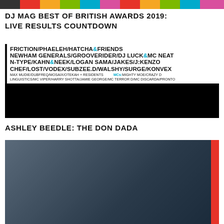[Figure (illustration): Colorful striped header banner with multiple color blocks]
DJ MAG BEST OF BRITISH AWARDS 2019: LIVE RESULTS COUNTDOWN
[Figure (infographic): Event poster listing artists: FRICTION/PHAELEH/HATCHA & FRIENDS / NEWHAM GENERALS/GROOVERIDER/DJ LUCK & MC NEAT / N-TYPE/KAHN&NEEK/LOGAN SAMA/JAKES/J:KENZO / CHEF/LOST/VODEX/SUBZEE.D/WALSHY/SURGE/KONVEX / MAX MUDIE/DUBFREQ/MOSAIX/OTEKAH + RESIDENTS / MCs: MIGHTY MOE/CRAZY D / LINGUISTICS/MC VIPER/HARRY SHOTTA/JAMIE GEORGE/MC TERROR D/MC DISCARDA/PRONTO / Below: colorful balloons on black background]
ASHLEY BEEDLE: THE DON DADA
[Figure (photo): Dark moody photo, partially visible, appears to show music equipment, with a red stripe on the right edge]